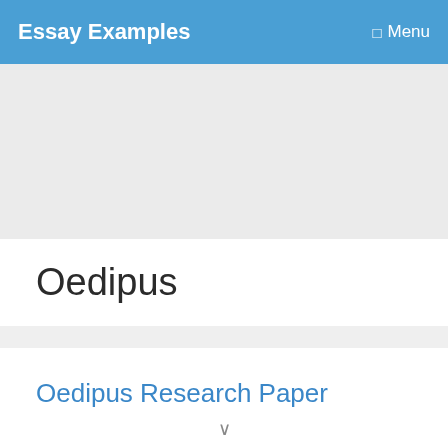Essay Examples   Menu
[Figure (other): Gray advertisement placeholder area]
Oedipus
Oedipus Research Paper